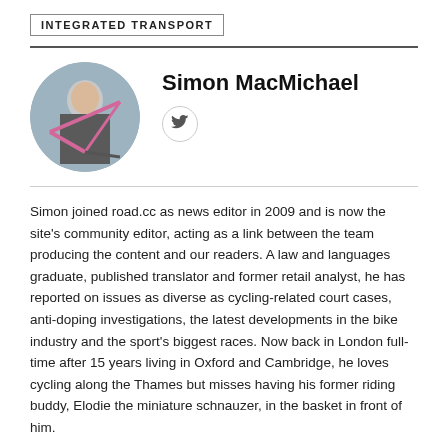INTEGRATED TRANSPORT
[Figure (photo): Circular profile photo of Simon MacMichael holding a pink bicycle outdoors]
Simon MacMichael
[Figure (logo): Twitter bird icon inside a circle]
Simon joined road.cc as news editor in 2009 and is now the site's community editor, acting as a link between the team producing the content and our readers. A law and languages graduate, published translator and former retail analyst, he has reported on issues as diverse as cycling-related court cases, anti-doping investigations, the latest developments in the bike industry and the sport's biggest races. Now back in London full-time after 15 years living in Oxford and Cambridge, he loves cycling along the Thames but misses having his former riding buddy, Elodie the miniature schnauzer, in the basket in front of him.